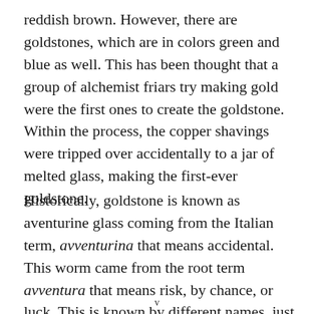reddish brown. However, there are goldstones, which are in colors green and blue as well. This has been thought that a group of alchemist friars try making gold were the first ones to create the goldstone. Within the process, the copper shavings were tripped over accidentally to a jar of melted glass, making the first-ever goldstone.
Historically, goldstone is known as aventurine glass coming from the Italian term, avventurina that means accidental. This worm came from the root term avventura that means risk, by chance, or luck. This is known by different names, just like Monkgold, Monk's
v